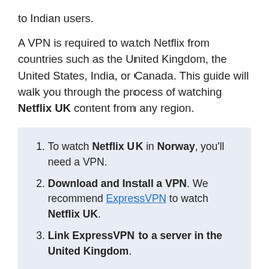to Indian users.
A VPN is required to watch Netflix from countries such as the United Kingdom, the United States, India, or Canada. This guide will walk you through the process of watching Netflix UK content from any region.
To watch Netflix UK in Norway, you'll need a VPN.
Download and Install a VPN. We recommend ExpressVPN to watch Netflix UK.
Link ExpressVPN to a server in the United Kingdom.